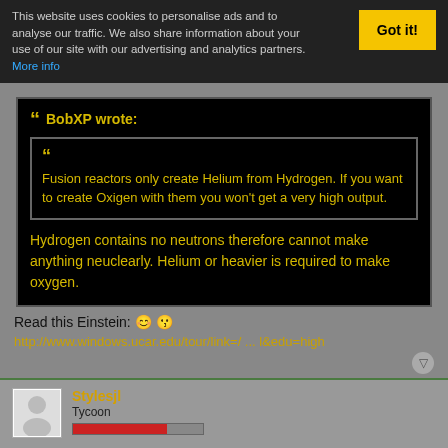This website uses cookies to personalise ads and to analyse our traffic. We also share information about your use of our site with our advertising and analytics partners. More info
Got it!
BobXP wrote:
Fusion reactors only create Helium from Hydrogen. If you want to create Oxigen with them you won't get a very high output.
Hydrogen contains no neutrons therefore cannot make anything neuclearly. Helium or heavier is required to make oxygen.
Read this Einstein: 🙂 😵
http://www.windows.ucar.edu/tour/link=/ ... l&edu=high
Stylesjl
Tycoon
17 Jan 2004 02:49
Okay so what is the programmers final word?